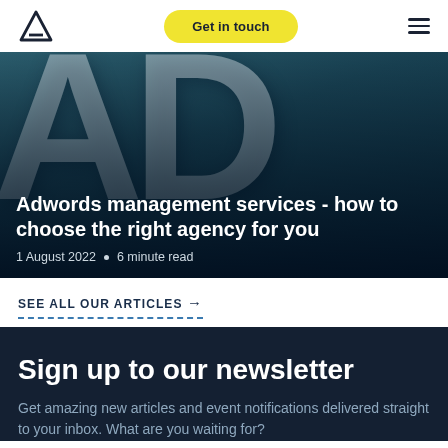Logo | Get in touch | Menu
[Figure (photo): Large white 'AD' letters on a dark teal/blue background, forming a hero image for a blog article card about Adwords management services]
Adwords management services - how to choose the right agency for you
1 August 2022 • 6 minute read
SEE ALL OUR ARTICLES →
Sign up to our newsletter
Get amazing new articles and event notifications delivered straight to your inbox. What are you waiting for?